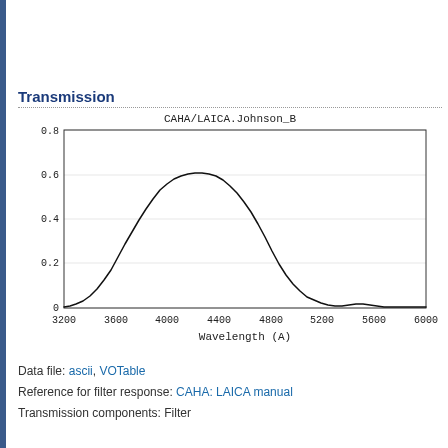Transmission
[Figure (continuous-plot): Transmission curve for CAHA/LAICA.Johnson_B filter. The curve rises from near zero at 3200 Angstroms, peaks at approximately 0.75 around 4100-4200 Angstroms, then falls back to near zero around 5200 Angstroms, with a small bump near 5600 Angstroms.]
Data file: ascii, VOTable
Reference for filter response: CAHA: LAICA manual
Transmission components: Filter